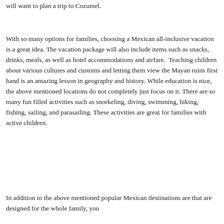will want to plan a trip to Cozumel.
With so many options for families, choosing a Mexican all-inclusive vacation is a great idea. The vacation package will also include items such as snacks, drinks, meals, as well as hotel accommodations and airfare.  Teaching children about various cultures and customs and letting them view the Mayan ruins first hand is an amazing lesson in geography and history. While education is nice, the above mentioned locations do not completely just focus on it. There are so many fun filled activities such as snorkeling, diving, swimming, hiking, fishing, sailing, and parasailing. These activities are great for families with active children.
In addition to the above mentioned popular Mexican destinations are that are designed for the whole family, you